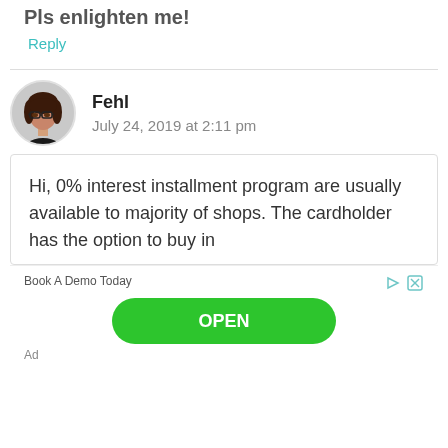Pls enlighten me!
Reply
Fehl
July 24, 2019 at 2:11 pm
Hi, 0% interest installment program are usually available to majority of shops. The cardholder has the option to buy in
Book A Demo Today
OPEN
Ad